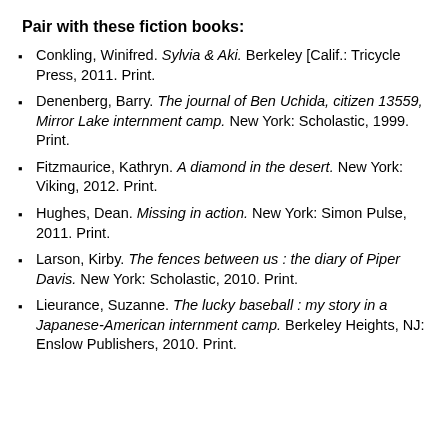Pair with these fiction books:
Conkling, Winifred. Sylvia & Aki. Berkeley [Calif.: Tricycle Press, 2011. Print.
Denenberg, Barry. The journal of Ben Uchida, citizen 13559, Mirror Lake internment camp. New York: Scholastic, 1999. Print.
Fitzmaurice, Kathryn. A diamond in the desert. New York: Viking, 2012. Print.
Hughes, Dean. Missing in action. New York: Simon Pulse, 2011. Print.
Larson, Kirby. The fences between us : the diary of Piper Davis. New York: Scholastic, 2010. Print.
Lieurance, Suzanne. The lucky baseball : my story in a Japanese-American internment camp. Berkeley Heights, NJ: Enslow Publishers, 2010. Print.